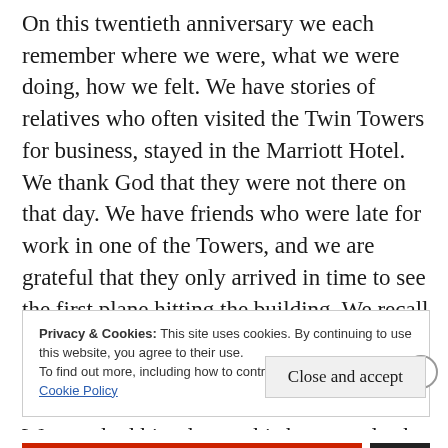On this twentieth anniversary we each remember where we were, what we were doing, how we felt. We have stories of relatives who often visited the Twin Towers for business, stayed in the Marriott Hotel. We thank God that they were not there on that day. We have friends who were late for work in one of the Towers, and we are grateful that they only arrived in time to see the first plane hitting the building. We recall the terror of a friend whose parents worked there and the long day of sitting with him until he finally learned that they were safe. We watched him drop to his knees and sob tears of
Privacy & Cookies: This site uses cookies. By continuing to use this website, you agree to their use.
To find out more, including how to control cookies, see here:
Cookie Policy
Close and accept